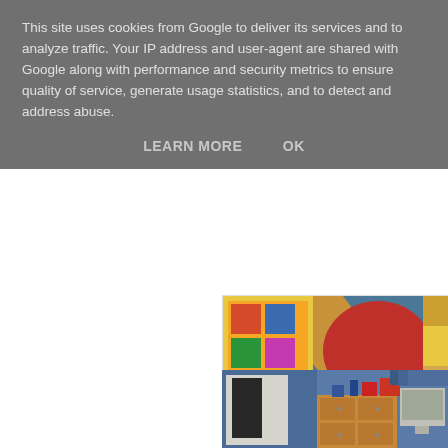This site uses cookies from Google to deliver its services and to analyze traffic. Your IP address and user-agent are shared with Google along with performance and security metrics to ensure quality of service, generate usage statistics, and to detect and address abuse.
LEARN MORE    OK
[Figure (photo): A partial photo showing a bedroom scene — colorful poster/comic panels visible, a red object, wooden bed frame edge, and crumpled bedding/grey sheets, against a blue wall.]
A Gaming beanbag
[Figure (photo): A partial photo showing a bedroom with blue walls, a Call of Duty poster on the left, a wooden chest of drawers with items on top, and a grey/white monitor visible to the right.]